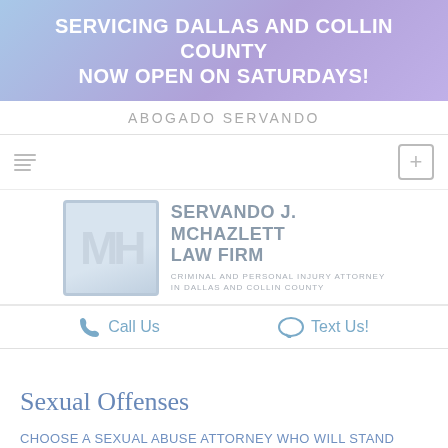SERVICING DALLAS AND COLLIN COUNTY NOW OPEN ON SATURDAYS!
ABOGADO SERVANDO
[Figure (logo): MH logo with text: SERVANDO J. MCHAZLETT LAW FIRM, CRIMINAL AND PERSONAL INJURY ATTORNEY IN DALLAS AND COLLIN COUNTY]
Call Us
Text Us!
Sexual Offenses
CHOOSE A SEXUAL ABUSE ATTORNEY WHO WILL STAND BY YOU